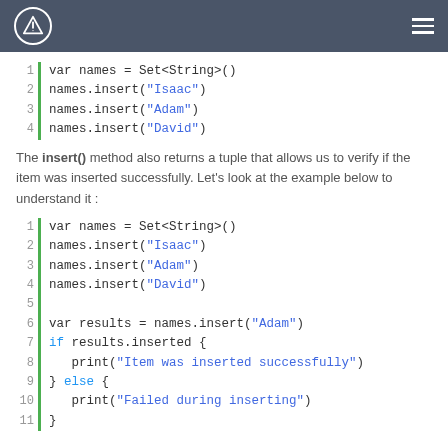Header with logo and hamburger menu
[Figure (screenshot): Code block showing var names = Set<String>() with inserts for Isaac, Adam, David (4 lines)]
The insert() method also returns a tuple that allows us to verify if the item was inserted successfully. Let's look at the example below to understand it :
[Figure (screenshot): Code block with 11 lines: var names = Set<String>(), inserts for Isaac Adam David, var results = names.insert(Adam), if results.inserted { print(...) } else { print(...) }]